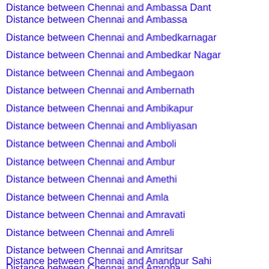Distance between Chennai and Ambassa
Distance between Chennai and Ambedkarnagar
Distance between Chennai and Ambedkar Nagar
Distance between Chennai and Ambegaon
Distance between Chennai and Ambernath
Distance between Chennai and Ambikapur
Distance between Chennai and Ambliyasan
Distance between Chennai and Amboli
Distance between Chennai and Ambur
Distance between Chennai and Amethi
Distance between Chennai and Amla
Distance between Chennai and Amravati
Distance between Chennai and Amreli
Distance between Chennai and Amritsar
Distance between Chennai and Amroha
Distance between Chennai and Anakapalle
Distance between Chennai and Anand
Distance between Chennai and Anandapur
Distance between Chennai and Anandpur Sahib